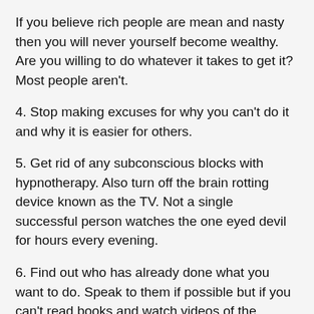If you believe rich people are mean and nasty then you will never yourself become wealthy. Are you willing to do whatever it takes to get it? Most people aren't.
4. Stop making excuses for why you can't do it and why it is easier for others.
5. Get rid of any subconscious blocks with hypnotherapy. Also turn off the brain rotting device known as the TV. Not a single successful person watches the one eyed devil for hours every evening.
6. Find out who has already done what you want to do. Speak to them if possible but if you can't read books and watch videos of the people who have done it. What did they do that you can do also?
7. Drop any friends who try to hold you back. Don't talk about the goal to negative people.